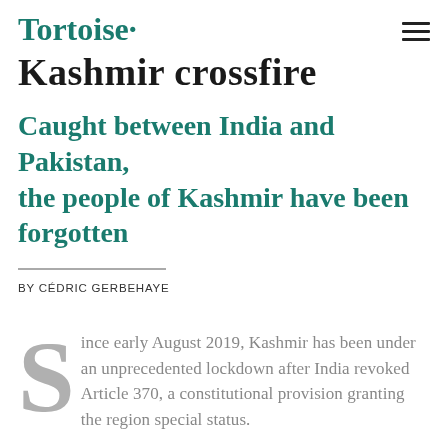Tortoise·
Kashmir crossfire
Caught between India and Pakistan, the people of Kashmir have been forgotten
BY CÉDRIC GERBEHAYE
Since early August 2019, Kashmir has been under an unprecedented lockdown after India revoked Article 370, a constitutional provision granting the region special status.